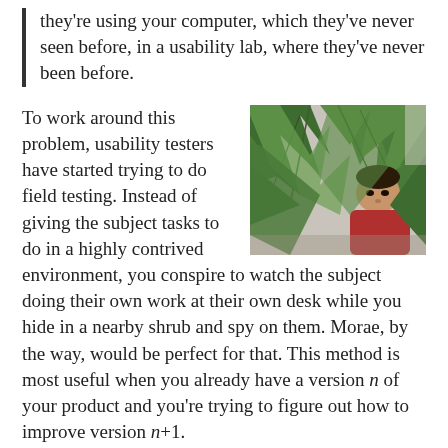they're using your computer, which they've never seen before, in a usability lab, where they've never been before.
[Figure (photo): A person in a red shirt partially hidden behind large green palm-like leaves, appearing to spy or observe from behind the plant.]
To work around this problem, usability testers have started trying to do field testing. Instead of giving the subject tasks to do in a highly contrived environment, you conspire to watch the subject doing their own work at their own desk while you hide in a nearby shrub and spy on them. Morae, by the way, would be perfect for that. This method is most useful when you already have a version n of your product and you're trying to figure out how to improve version n+1.